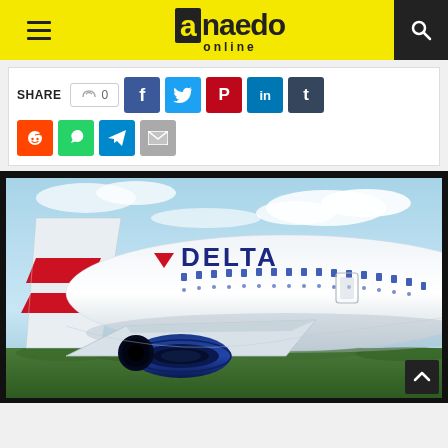[Figure (screenshot): Anaedo Online website header with yellow background, hamburger menu icon on left, 'a.naedo online' logo in center, and search icon on right dark panel]
[Figure (infographic): Social media share bar with SHARE label, like button showing 0, Facebook, Twitter, Pinterest, LinkedIn, Tumblr, Reddit, WhatsApp, Telegram, and Email buttons]
[Figure (photo): Delta Airlines aircraft in flight showing the fuselage with DELTA branding and red/blue delta tail logo against a blue sky and green landscape below]